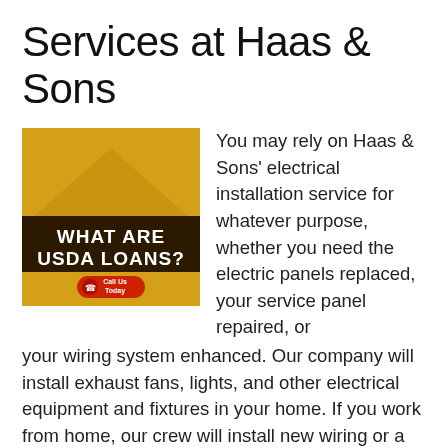Services at Haas & Sons
[Figure (illustration): Advertisement image with golden/amber background showing a house roof shape, dark brown banner with white bold text reading 'WHAT ARE USDA LOANS?' and a red button with 'Call Us Today']
You may rely on Haas & Sons' electrical installation service for whatever purpose, whether you need the electric panels replaced, your service panel repaired, or your wiring system enhanced. Our company will install exhaust fans, lights, and other electrical equipment and fixtures in your home. If you work from home, our crew will install new wiring or a service panel in your current home. Haas & Sons also install outlets and other electrical equipment such as televisions.